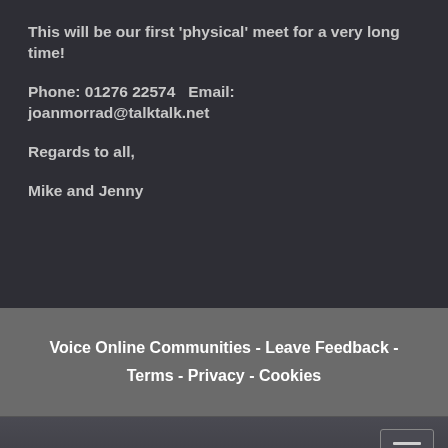This will be our first 'physical' meet for a very long time!
Phone: 01276 22574   Email: joanmorrad@talktalk.net
Regards to all,
Mike and Jenny
Voice Online Communities - Leave Feedback - Terms - Privacy - Cookies